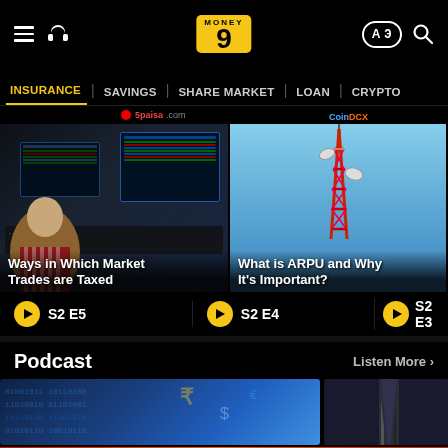Money9 - INSURANCE | SAVINGS | SHARE MARKET | LOAN | CRYPTO
[Figure (screenshot): Video card: Ways in Which Market Trades are Taxed - S2 E5]
[Figure (screenshot): Video card: What is ARPU and Why It's Important? - S2 E4]
[Figure (screenshot): Video card: Bulk Deal - S2 E3]
Podcast
Listen More >
[Figure (screenshot): Podcast thumbnail 1]
[Figure (screenshot): Podcast thumbnail 2]
[Figure (screenshot): BitLife advertisement banner - START A NEW LIFE]